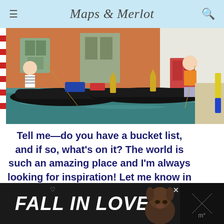Maps & Merlot
[Figure (photo): Gondolas moored along a Venice canal with gondoliers in striped shirts and orange shirts punting, colorful buildings in background]
Tell me—do you have a bucket list, and if so, what's on it? The world is such an amazing place and I'm always looking for inspiration! Let me know in the comments
[Figure (screenshot): Dark advertisement banner reading FALL IN LOVE with a dog image and close button]